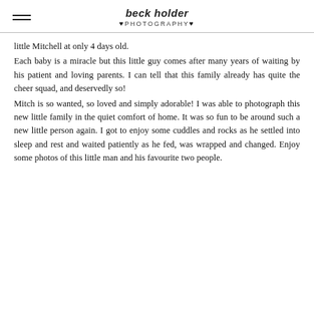beck holder PHOTOGRAPHY
little Mitchell at only 4 days old. Each baby is a miracle but this little guy comes after many years of waiting by his patient and loving parents. I can tell that this family already has quite the cheer squad, and deservedly so! Mitch is so wanted, so loved and simply adorable! I was able to photograph this new little family in the quiet comfort of home. It was so fun to be around such a new little person again. I got to enjoy some cuddles and rocks as he settled into sleep and rest and waited patiently as he fed, was wrapped and changed. Enjoy some photos of this little man and his favourite two people.